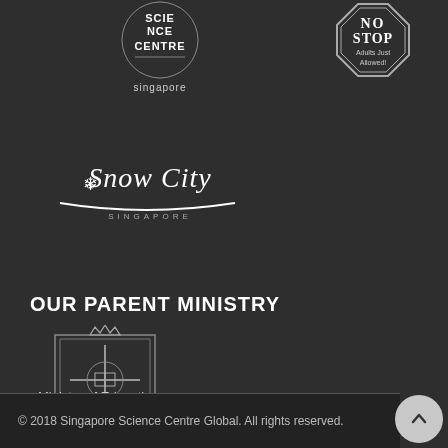[Figure (logo): Science Centre Singapore logo — white text on dark background, circular badge style with 'singapore' text below]
[Figure (logo): STOP sign style badge with handwritten text 'Adults Just Allowed' inside an octagon]
[Figure (logo): Snow City Singapore logo — cursive white text with snowflake and swoosh underline]
OUR PARENT MINISTRY
[Figure (logo): Ministry of Education Singapore crest/shield logo]
Ministry of Education
SINGAPORE
© 2018 Singapore Science Centre Global. All rights reserved.